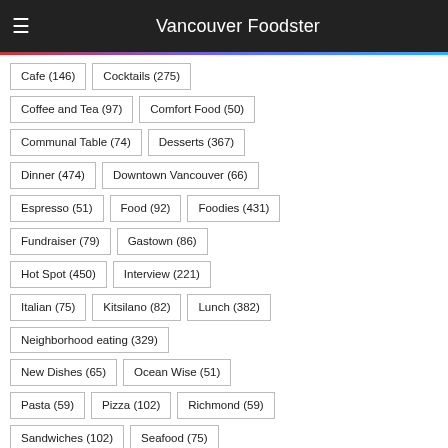Vancouver Foodster
Cafe (146)
Cocktails (275)
Coffee and Tea (97)
Comfort Food (50)
Communal Table (74)
Desserts (367)
Dinner (474)
Downtown Vancouver (66)
Espresso (51)
Food (92)
Foodies (431)
Fundraiser (79)
Gastown (86)
Hot Spot (450)
Interview (221)
Italian (75)
Kitsilano (82)
Lunch (382)
Neighborhood eating (329)
New Dishes (65)
Ocean Wise (51)
Pasta (59)
Pizza (102)
Richmond (59)
Sandwiches (102)
Seafood (75)